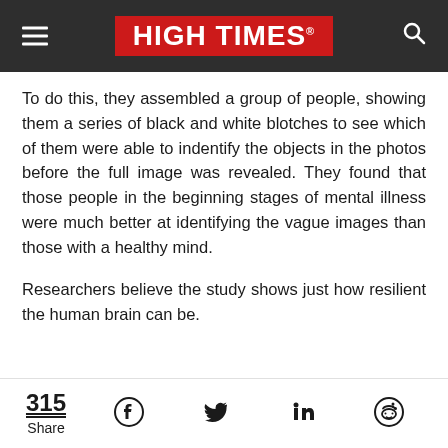HIGH TIMES
To do this, they assembled a group of people, showing them a series of black and white blotches to see which of them were able to indentify the objects in the photos before the full image was revealed. They found that those people in the beginning stages of mental illness were much better at identifying the vague images than those with a healthy mind.
Researchers believe the study shows just how resilient the human brain can be.
315 Share | Facebook | Twitter | LinkedIn | Reddit